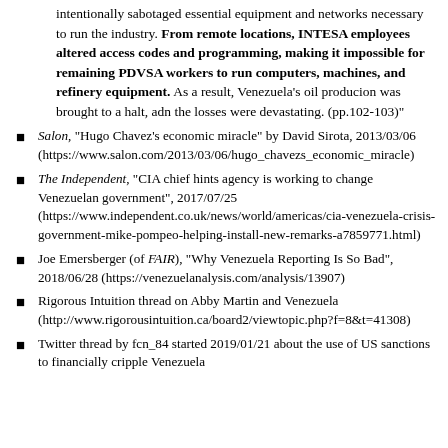intentionally sabotaged essential equipment and networks necessary to run the industry. From remote locations, INTESA employees altered access codes and programming, making it impossible for remaining PDVSA workers to run computers, machines, and refinery equipment. As a result, Venezuela's oil producion was brought to a halt, adn the losses were devastating. (pp.102-103)"
Salon, "Hugo Chavez's economic miracle" by David Sirota, 2013/03/06 (https://www.salon.com/2013/03/06/hugo_chavezs_economic_miracle)
The Independent, "CIA chief hints agency is working to change Venezuelan government", 2017/07/25 (https://www.independent.co.uk/news/world/americas/cia-venezuela-crisis-government-mike-pompeo-helping-install-new-remarks-a7859771.html)
Joe Emersberger (of FAIR), "Why Venezuela Reporting Is So Bad", 2018/06/28 (https://venezuelanalysis.com/analysis/13907)
Rigorous Intuition thread on Abby Martin and Venezuela (http://www.rigorousintuition.ca/board2/viewtopic.php?f=8&t=41308)
Twitter thread by fcn_84 started 2019/01/21 about the use of US sanctions to financially cripple Venezuela (https://threadreaderapp.com/thread/1087493013114863616.h...)